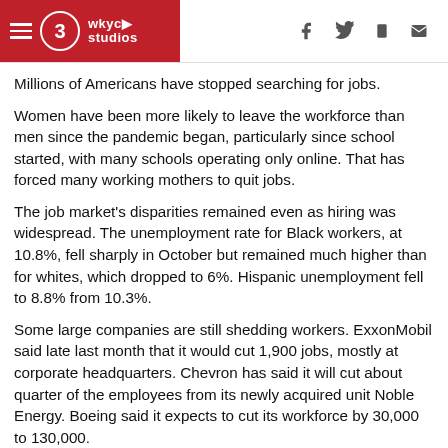WKYC Studios
Millions of Americans have stopped searching for jobs.
Women have been more likely to leave the workforce than men since the pandemic began, particularly since school started, with many schools operating only online. That has forced many working mothers to quit jobs.
The job market's disparities remained even as hiring was widespread. The unemployment rate for Black workers, at 10.8%, fell sharply in October but remained much higher than for whites, which dropped to 6%. Hispanic unemployment fell to 8.8% from 10.3%.
Some large companies are still shedding workers. ExxonMobil said late last month that it would cut 1,900 jobs, mostly at corporate headquarters. Chevron has said it will cut about quarter of the employees from its newly acquired unit Noble Energy. Boeing said it expects to cut its workforce by 30,000 to 130,000.